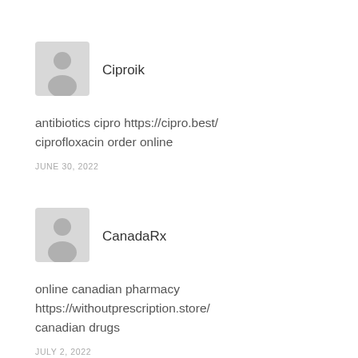Ciproik
antibiotics cipro https://cipro.best/ ciprofloxacin order online
JUNE 30, 2022
CanadaRx
online canadian pharmacy https://withoutprescription.store/ canadian drugs
JULY 2, 2022